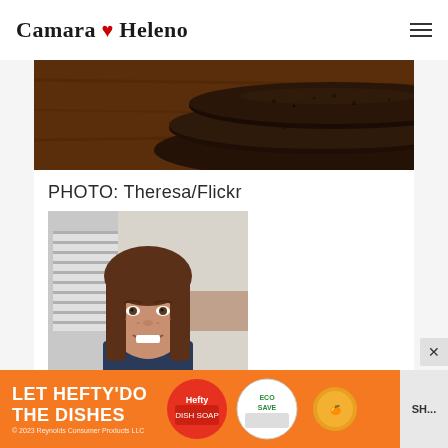Camara Heleno
[Figure (photo): Close-up photo of dark chocolate cookies stacked on a wooden surface]
PHOTO: Theresa/Flickr
[Figure (photo): Headshot of a smiling young woman with long brown hair, standing in a kitchen]
[Figure (other): Advertisement banner: LET HEFTY DO THE DISHES - Hefty and EcoSave product images - Reynolds Consumer Products LLC 2023]